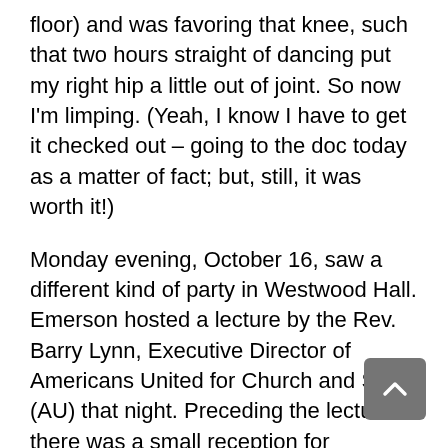floor) and was favoring that knee, such that two hours straight of dancing put my right hip a little out of joint. So now I'm limping. (Yeah, I know I have to get it checked out – going to the doc today as a matter of fact; but, still, it was worth it!)
Monday evening, October 16, saw a different kind of party in Westwood Hall. Emerson hosted a lecture by the Rev. Barry Lynn, Executive Director of Americans United for Church and State (AU) that night. Preceding the lecture there was a small reception for community leaders, the Houston AU Board and Clergy Advisory Board (on which I serve), and others. The Rev. Lynn is retiring after twenty-five years of indefatigable defense